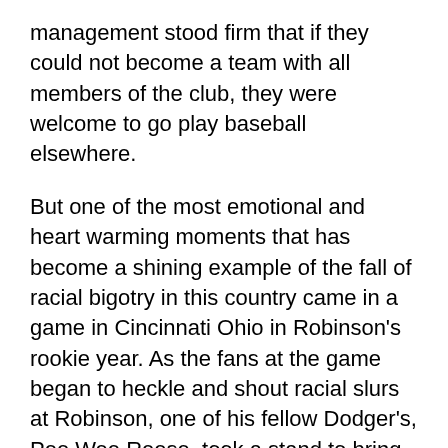management stood firm that if they could not become a team with all members of the club, they were welcome to go play baseball elsewhere.
But one of the most emotional and heart warming moments that has become a shining example of the fall of racial bigotry in this country came in a game in Cincinnati Ohio in Robinson's rookie year. As the fans at the game began to heckle and shout racial slurs at Robinson, one of his fellow Dodger's, Pee Wee Reese, took a stand to bring this kind of behavior to a stop. His statement that racism would no longer rule in baseball was simple and elegant. As fans shouted their hateful remarks, Reese walked out on the field and put his arm around Jackie Robinson clearly communicating that this man was a teammate and a valued ball player on that team. The taunts ended abruptly and Reese and Robinson went on